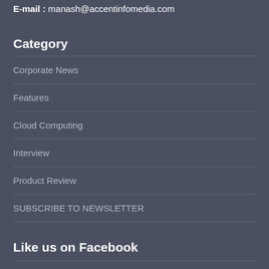E-mail : manash@accentinfomedia.com
Category
Corporate News
Features
Cloud Computing
Interview
Product Review
SUBSCRIBE TO NEWSLETTER
Like us on Facebook